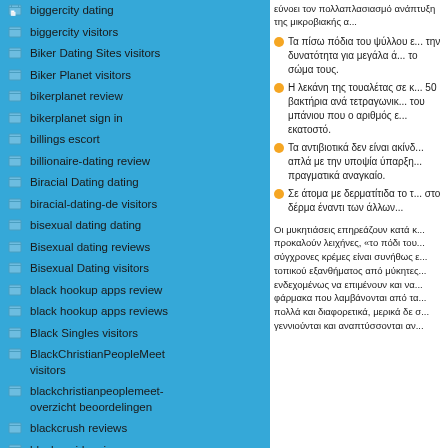biggercity dating
biggercity visitors
Biker Dating Sites visitors
Biker Planet visitors
bikerplanet review
bikerplanet sign in
billings escort
billionaire-dating review
Biracial Dating dating
biracial-dating-de visitors
bisexual dating dating
Bisexual dating reviews
Bisexual Dating visitors
black hookup apps review
black hookup apps reviews
Black Singles visitors
BlackChristianPeopleMeet visitors
blackchristianpeoplemeet-overzicht beoordelingen
blackcrush reviews
blackcupid review
blackcupid visitors
BlackDatingForFree visitors
εύνοει τον πολλαπλασιασμό... ανάπτυξη της μικροβιακής α...
Τα πίσω πόδια του ψύλλου ε... την δυνατότητα για μεγάλα ά... το σώμα τους.
Η λεκάνη της τουαλέτας σε κ... 50 βακτήρια ανά τετραγωνικ... του μπάνιου που ο αριθμός ε... εκατοστό.
Τα αντιβιοτικά δεν είναι ακίνδ... απλά με την υποψία ύπαρξη... πραγματικά αναγκαίο.
Σε άτομα με δερματίτιδα το τ... στο δέρμα έναντι των άλλων...
Οι μυκητιάσεις επηρεάζουν κατά κ... προκαλούν λειχήνες, «το πόδι του... σύγχρονες κρέμες είναι συνήθως ε... τοπικού εξανθήματος από μύκητες... ενδεχομένως να επιμένουν και να... φάρμακα που λαμβάνονται από τα... πολλά και διαφορετικά, μερικά δε σ... γεννιούνται και αναπτύσσονται αν...